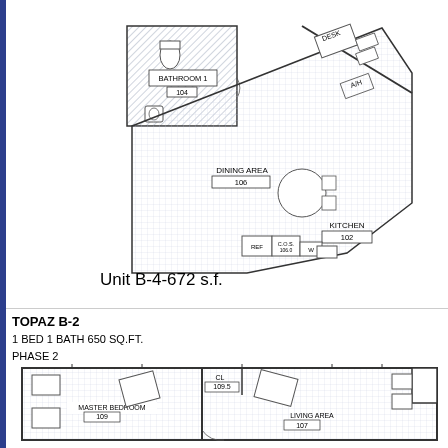[Figure (engineering-diagram): Floor plan of Unit B-4-672 s.f. showing bathroom 1 (104), dining area (106), desk area, A/H area, kitchen (102), REF, C.O.S., DW appliances arranged in an angled/rotated layout with grid-pattern flooring.]
Unit B-4-672 s.f.
TOPAZ B-2
1 BED 1 BATH 650 SQ.FT.
PHASE 2
[Figure (engineering-diagram): Partial floor plan showing Master Bedroom (109), CL (109.5), Living Area (107), with furniture layouts including beds and seating.]